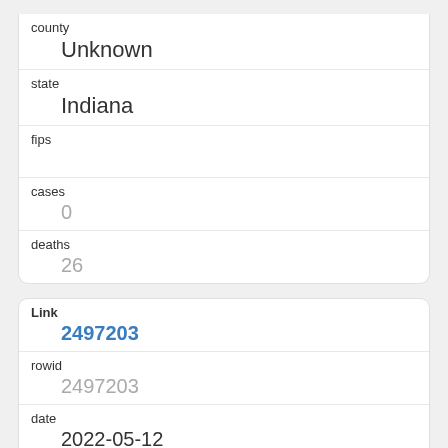county
Unknown
state
Indiana
fips
cases
0
deaths
26
Link
2497203
rowid
2497203
date
2022-05-12
county
Unknown
state
Iowa